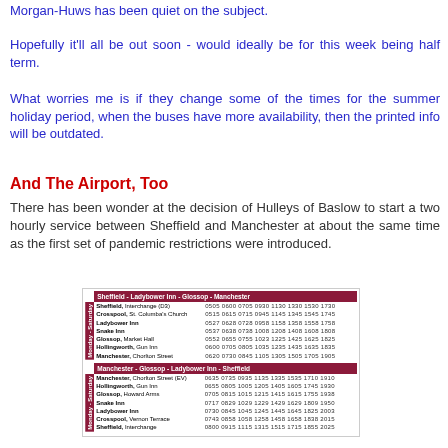Morgan-Huws has been quiet on the subject.
Hopefully it'll all be out soon - would ideally be for this week being half term.
What worries me is if they change some of the times for the summer holiday period, when the buses have more availability, then the printed info will be outdated.
And The Airport, Too
There has been wonder at the decision of Hulleys of Baslow to start a two hourly service between Sheffield and Manchester at about the same time as the first set of pandemic restrictions were introduced.
[Figure (table-as-image): Bus timetable showing Sheffield - Ladybower Inn - Glossop - Manchester and reverse direction routes, Monday to Saturday service with stops and times.]